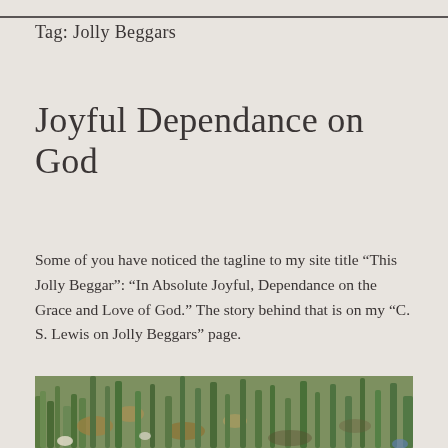Tag: Jolly Beggars
Joyful Dependance on God
Some of you have noticed the tagline to my site title “This Jolly Beggar”: “In Absolute Joyful, Dependance on the Grace and Love of God.” The story behind that is on my “C. S. Lewis on Jolly Beggars” page.
[Figure (photo): Close-up photograph of grass and fallen leaves on the ground, viewed from above.]